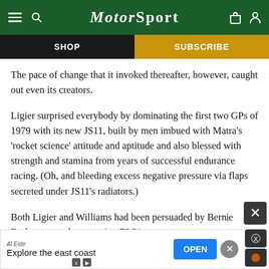MotorSport
SHOP
SUBSCRIBE
The pace of change that it invoked thereafter, however, caught out even its creators.
Ligier surprised everybody by dominating the first two GPs of 1979 with its new JS11, built by men imbued with Matra’s ‘rocket science’ attitude and aptitude and also blessed with strength and stamina from years of successful endurance racing. (Oh, and bleeding excess negative pressure via flaps secreted under JS11’s radiators.)
Both Ligier and Williams had been persuaded by Ber...ie Ec...estone to drop running F3C1 to...
[Figure (screenshot): Advertisement banner: Al Este - Explore the east coast - OPEN button]